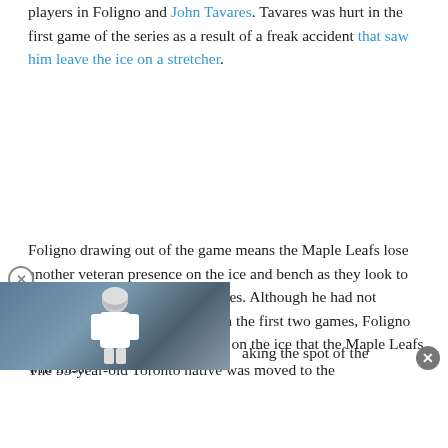players in Foligno and John Tavares. Tavares was hurt in the first game of the series as a result of a freak accident that saw him leave the ice on a stretcher.
Foligno drawing out of the game means the Maple Leafs lose another veteran presence on the ice and bench as they look to take a lead in the first-round series. Although he had not significantly contributed through the first two games, Foligno had provided a veteran presence on the ice that the Maple Leafs will miss.
[Figure (photo): Hockey player in white helmet, overlaid image popup with close button, partially obscuring article text]
The 33-year-old Toronto native was moved to the aking the spot of the